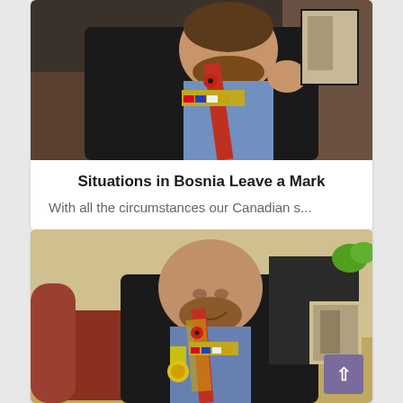[Figure (photo): A man wearing a dark military-style jacket with medals and a red poppy, seated in a chair, holding something, with framed photos visible in background]
Situations in Bosnia Leave a Mark
With all the circumstances our Canadian s...
[Figure (photo): The same man in dark military-style jacket with medals and red poppy, seated and smiling, bald head, with framed photos in background]